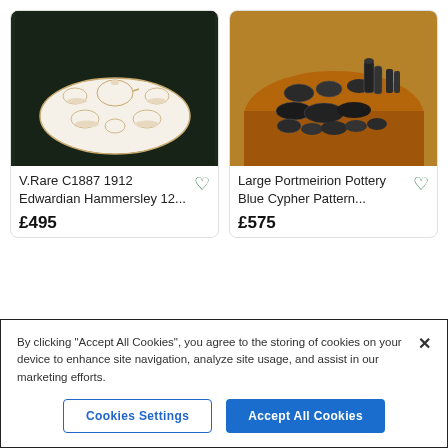[Figure (photo): Photo of a V.Rare C1887 1912 Edwardian Hammersley tea set with white porcelain cups and saucers on a tray, displayed against a dark green background.]
V.Rare C1887 1912 Edwardian Hammersley 12...
£495
[Figure (photo): Photo of a Large Portmeirion Pottery Blue Cypher Pattern set of dark metallic/pewter-look items arranged on a round wooden table.]
Large Portmeirion Pottery Blue Cypher Pattern...
£575
By clicking "Accept All Cookies", you agree to the storing of cookies on your device to enhance site navigation, analyze site usage, and assist in our marketing efforts.
Cookies Settings
Accept All Cookies